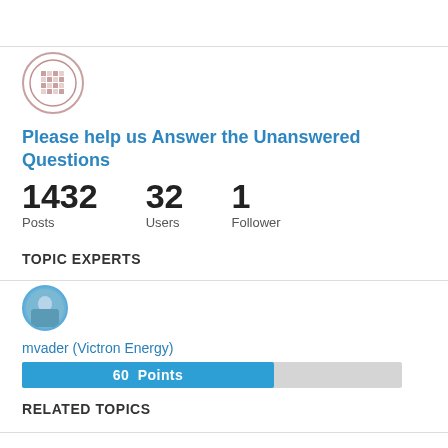[Figure (logo): Circular logo with a decorative quilt-like pattern in mauve/pink on white background]
Please help us Answer the Unanswered Questions
1432 Posts   32 Users   1 Follower
TOPIC EXPERTS
[Figure (photo): Small circular avatar photo of a person]
mvader (Victron Energy)
[Figure (infographic): Horizontal progress bar showing 60 Points in blue]
RELATED TOPICS